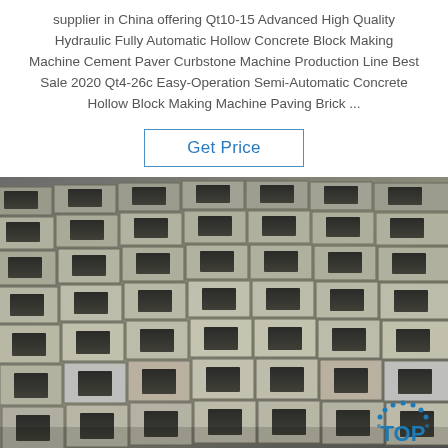supplier in China offering Qt10-15 Advanced High Quality Hydraulic Fully Automatic Hollow Concrete Block Making Machine Cement Paver Curbstone Machine Production Line Best Sale 2020 Qt4-26c Easy-Operation Semi-Automatic Concrete Hollow Block Making Machine Paving Brick ...
Get Price
[Figure (photo): Overhead/angled view of rows of grey hollow concrete blocks (cinder blocks) laid out on a flat surface, showing rectangular holes. A 'TOP' watermark logo is visible in the bottom-right corner.]